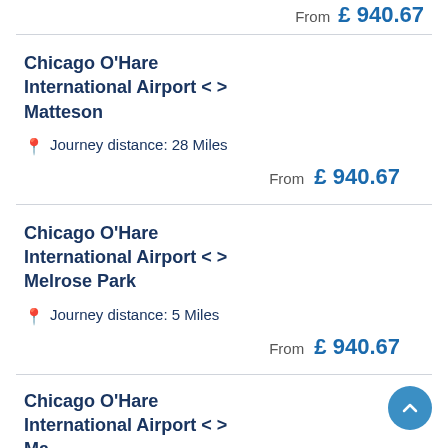From £ 940.67
Chicago O'Hare International Airport < > Matteson
Journey distance: 28 Miles
From £ 940.67
Chicago O'Hare International Airport < > Melrose Park
Journey distance: 5 Miles
From £ 940.67
Chicago O'Hare International Airport < >